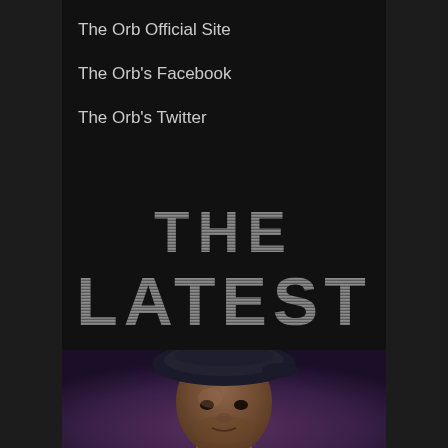The Orb Official Site
The Orb's Facebook
The Orb's Twitter
THE LATEST
[Figure (photo): Portrait of a man wearing a dark flat cap/beret, looking at the camera, against a dark purple/mauve background. The photo is cropped showing head and upper shoulders.]